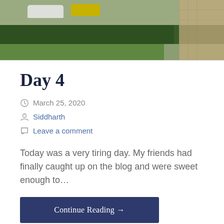[Figure (photo): Aerial view of a parking area with cars (white and yellow), a green hedge, lawn, and building with fence on right side]
Day 4
March 25, 2020
Siddharth
Leave a comment
Today was a very tiring day. My friends had finally caught up on the blog and were sweet enough to…
Continue Reading →